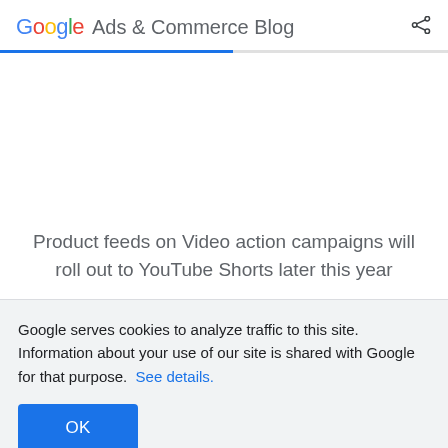Google Ads & Commerce Blog
Product feeds on Video action campaigns will roll out to YouTube Shorts later this year
Google serves cookies to analyze traffic to this site. Information about your use of our site is shared with Google for that purpose. See details.
OK